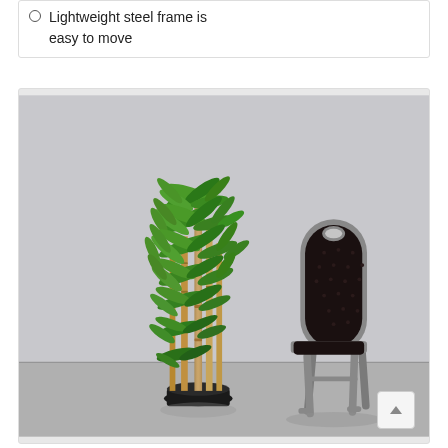Lightweight steel frame is easy to move
[Figure (photo): Product photo showing a tall artificial bamboo tree in a black pot next to a black upholstered banquet chair with a grey steel frame, both placed on a grey concrete floor against a light grey background.]